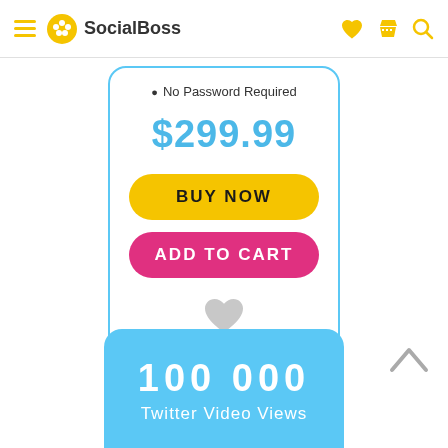SocialBoss
No Password Required
$299.99
BUY NOW
ADD TO CART
100 000 Twitter Video Views